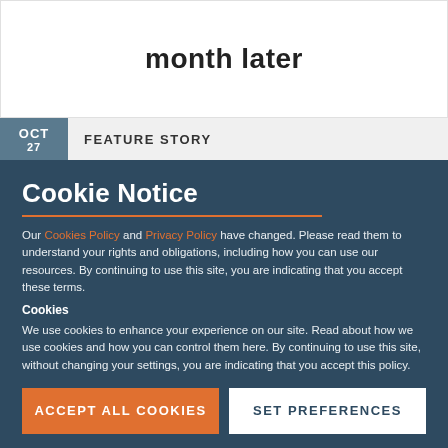month later
OCT  FEATURE STORY
Cookie Notice
Our Cookies Policy and Privacy Policy have changed. Please read them to understand your rights and obligations, including how you can use our resources. By continuing to use this site, you are indicating that you accept these terms.
Cookies
We use cookies to enhance your experience on our site. Read about how we use cookies and how you can control them here. By continuing to use this site, without changing your settings, you are indicating that you accept this policy.
ACCEPT ALL COOKIES
SET PREFERENCES